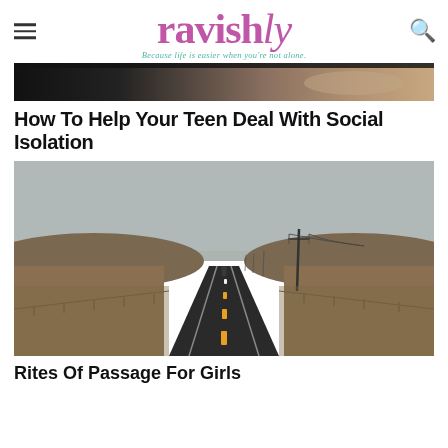ravishly — Because life is easier when you're not alone.
[Figure (photo): Partial photo at top, showing hands or laptop in dark tones with warm highlights]
How To Help Your Teen Deal With Social Isolation
[Figure (photo): A straight road stretching to the horizon through flat, dry, brown landscape under a grey overcast sky, with power poles and fencing visible on the roadside]
Rites Of Passage For Girls